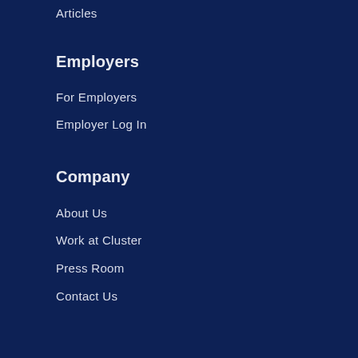Articles
Employers
For Employers
Employer Log In
Company
About Us
Work at Cluster
Press Room
Contact Us